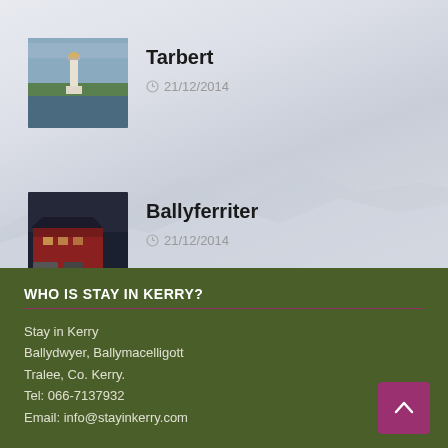[Figure (photo): Lighthouse on water with cloudy sky]
Tarbert
21/12/2014
[Figure (photo): Red building / hotel at night with cars]
Ballyferriter
21/12/2014
WHO IS STAY IN KERRY?
Stay in Kerry
Ballydwyer, Ballymacelligott
Tralee, Co. Kerry.
Tel: 066-7137932
Email: info@stayinkerry.com